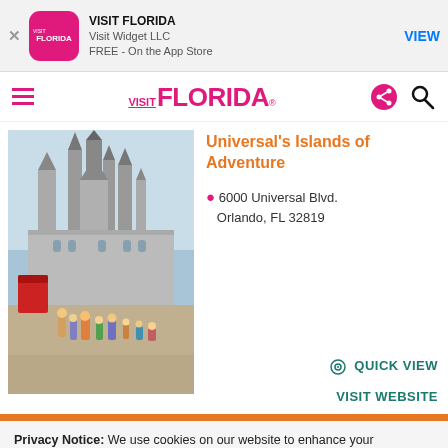[Figure (screenshot): Visit Florida app banner with pink app icon showing VISIT FLORIDA logo, app name, developer, and VIEW button]
[Figure (logo): VISIT FLORIDA navigation bar logo in pink/magenta with hamburger menu and share/search icons]
[Figure (photo): Photo of Hogwarts castle at Universal's Islands of Adventure with tourists walking in foreground]
Universal's Islands of Adventure
6000 Universal Blvd. Orlando, FL 32819
QUICK VIEW
VISIT WEBSITE
Privacy Notice: We use cookies on our website to enhance your experience. By continuing on our website, you consent to our use of cookies. Learn more in our Cookie Notice and our Privacy Policy.